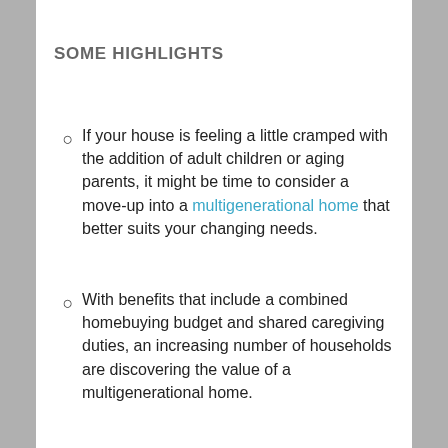SOME HIGHLIGHTS
If your house is feeling a little cramped with the addition of adult children or aging parents, it might be time to consider a move-up into a multigenerational home that better suits your changing needs.
With benefits that include a combined homebuying budget and shared caregiving duties, an increasing number of households are discovering the value of a multigenerational home.